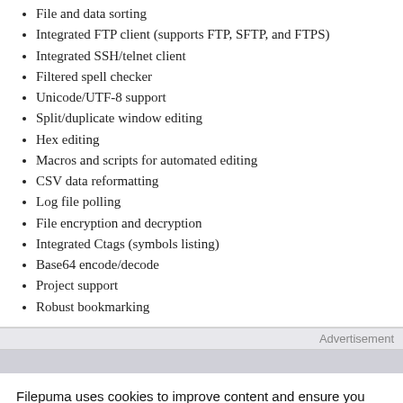File and data sorting
Integrated FTP client (supports FTP, SFTP, and FTPS)
Integrated SSH/telnet client
Filtered spell checker
Unicode/UTF-8 support
Split/duplicate window editing
Hex editing
Macros and scripts for automated editing
CSV data reformatting
Log file polling
File encryption and decryption
Integrated Ctags (symbols listing)
Base64 encode/decode
Project support
Robust bookmarking
Advertisement
Filepuma uses cookies to improve content and ensure you get the best experience on our website. By continuing to use this website, you agree to our privacy policy.
ACCEPT